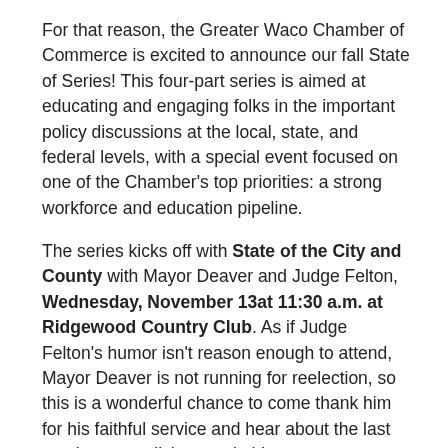For that reason, the Greater Waco Chamber of Commerce is excited to announce our fall State of Series! This four-part series is aimed at educating and engaging folks in the important policy discussions at the local, state, and federal levels, with a special event focused on one of the Chamber's top priorities: a strong workforce and education pipeline.
The series kicks off with State of the City and County with Mayor Deaver and Judge Felton, Wednesday, November 13at 11:30 a.m. at Ridgewood Country Club. As if Judge Felton's humor isn't reason enough to attend, Mayor Deaver is not running for reelection, so this is a wonderful chance to come thank him for his faithful service and hear about the last year's accomplishments in his tenure.
The State of Public Education is next in the